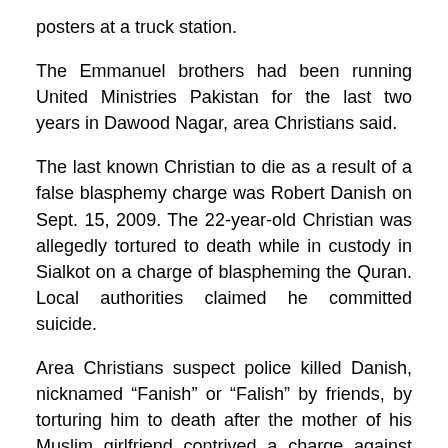posters at a truck station.
The Emmanuel brothers had been running United Ministries Pakistan for the last two years in Dawood Nagar, area Christians said.
The last known Christian to die as a result of a false blasphemy charge was Robert Danish on Sept. 15, 2009. The 22-year-old Christian was allegedly tortured to death while in custody in Sialkot on a charge of blaspheming the Quran. Local authorities claimed he committed suicide.
Area Christians suspect police killed Danish, nicknamed “Fanish” or “Falish” by friends, by torturing him to death after the mother of his Muslim girlfriend contrived a charge against him of desecrating Islam’s scripture. The allegation led to calls from mosque loudspeakers to punish